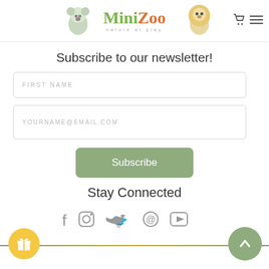MiniZoo — nature at play
Subscribe to our newsletter!
FIRST NAME
YOURNAME@EMAIL.COM
Subscribe
Stay Connected
[Figure (infographic): Social media icons row: Facebook, Instagram, Twitter, Pinterest, YouTube]